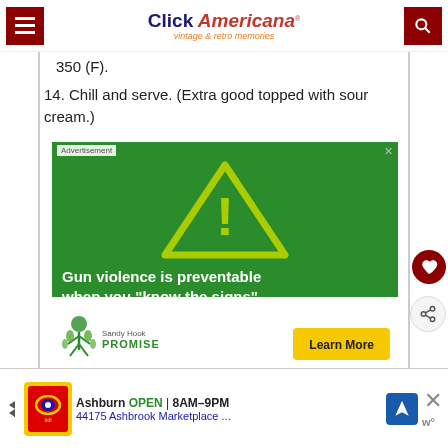Click Americana — vintage & retro memories
350 (F).
14. Chill and serve. (Extra good topped with sour cream.)
[Figure (infographic): Sandy Hook Promise advertisement on green background with warning triangle and exclamation mark. Text reads: 'Gun violence is preventable when you "know the signs".' with a 'Learn More' button.]
[Figure (infographic): What's Next — Tuna ring: A retro recipe... with food thumbnail image.]
[Figure (infographic): Bottom advertisement banner: Ashburn OPEN 8AM-9PM, 44175 Ashbrook Marketplace ...]